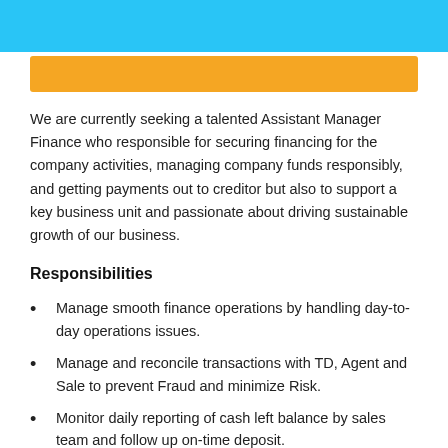We are currently seeking a talented Assistant Manager Finance who responsible for securing financing for the company activities, managing company funds responsibly, and getting payments out to creditor but also to support a key business unit and passionate about driving sustainable growth of our business.
Responsibilities
Manage smooth finance operations by handling day-to-day operations issues.
Manage and reconcile transactions with TD, Agent and Sale to prevent Fraud and minimize Risk.
Monitor daily reporting of cash left balance by sales team and follow up on-time deposit.
Ensure that third parties bill payments are settled on